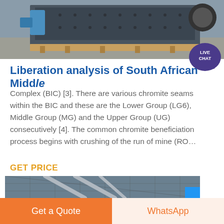[Figure (photo): Industrial crusher/mill machine on factory floor with blue hydraulic components]
Liberation analysis of South African Middle
Complex (BIC) [3]. There are various chromite seams within the BIC and these are the Lower Group (LG6), Middle Group (MG) and the Upper Group (UG) consecutively [4]. The common chromite beneficiation process begins with crushing of the run of mine (RO…
GET PRICE
[Figure (photo): Industrial shaker/vibrating screen equipment in a facility with large glass windows]
Get a Quote    WhatsApp